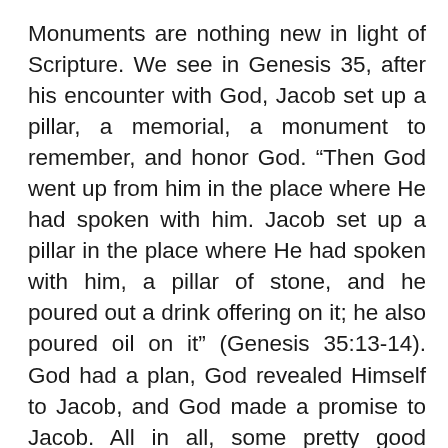Monuments are nothing new in light of Scripture. We see in Genesis 35, after his encounter with God, Jacob set up a pillar, a memorial, a monument to remember, and honor God. “Then God went up from him in the place where He had spoken with him. Jacob set up a pillar in the place where He had spoken with him, a pillar of stone, and he poured out a drink offering on it; he also poured oil on it” (Genesis 35:13-14). God had a plan, God revealed Himself to Jacob, and God made a promise to Jacob. All in all, some pretty good reasons to commemorate the incident in a memorial.